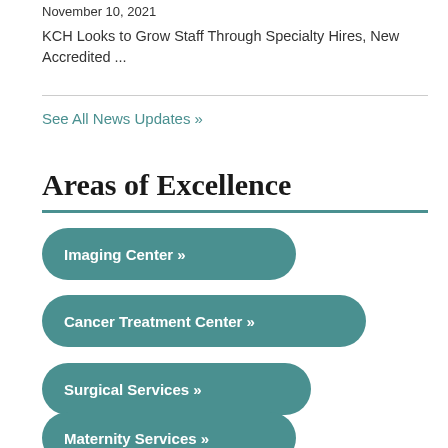November 10, 2021
KCH Looks to Grow Staff Through Specialty Hires, New Accredited ...
See All News Updates »
Areas of Excellence
Imaging Center »
Cancer Treatment Center »
Surgical Services »
Maternity Services »